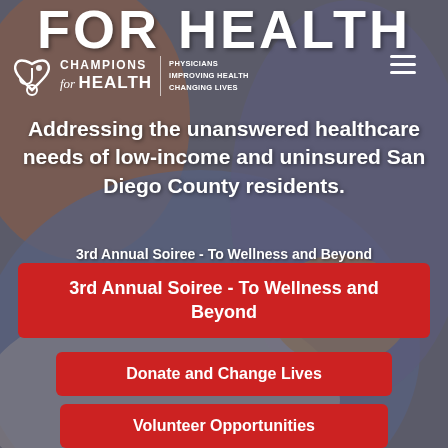[Figure (photo): Background photo of a patient lying in a hospital bed with a healthcare worker's hand visible, muted blue and beige tones]
FOR HEALTH
[Figure (logo): Champions for Health logo with stethoscope icon and tagline: PHYSICIANS IMPROVING HEALTH CHANGING LIVES]
Addressing the unanswered healthcare needs of low-income and uninsured San Diego County residents.
3rd Annual Soiree - To Wellness and Beyond
Donate and Change Lives
Volunteer Opportunities